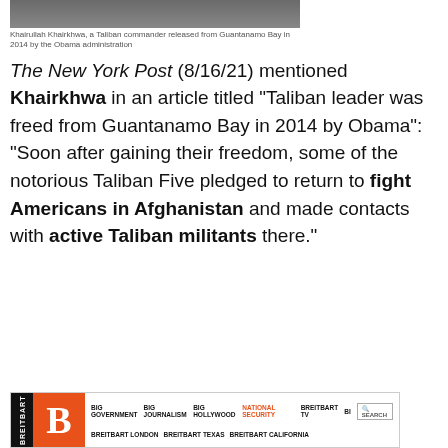[Figure (photo): Partial photo at top of page showing what appears to be people in white clothing]
Khairullah Khairkhwa, a Taliban commander released from Guantanamo Bay in 2014 by the Obama administration
The New York Post (8/16/21) mentioned Khairkhwa in an article titled "Taliban leader was freed from Guantanamo Bay in 2014 by Obama": "Soon after gaining their freedom, some of the notorious Taliban Five pledged to return to fight Americans in Afghanistan and made contacts with active Taliban militants there."
[Figure (screenshot): Breitbart website header/navigation bar showing logo, navigation links including BIG GOVERNMENT, BIG JOURNALISM, BIG HOLLYWOOD, NATIONAL SECURITY, BREITBART TV, and secondary links BREITBART LONDON, BREITBART TEXAS, BREITBART CALIFORNIA]